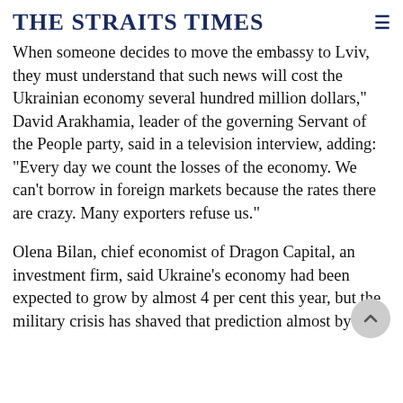THE STRAITS TIMES
When someone decides to move the embassy to Lviv, they must understand that such news will cost the Ukrainian economy several hundred million dollars," David Arakhamia, leader of the governing Servant of the People party, said in a television interview, adding: "Every day we count the losses of the economy. We can't borrow in foreign markets because the rates there are crazy. Many exporters refuse us."
Olena Bilan, chief economist of Dragon Capital, an investment firm, said Ukraine's economy had been expected to grow by almost 4 per cent this year, but the military crisis has shaved that prediction almost by half.